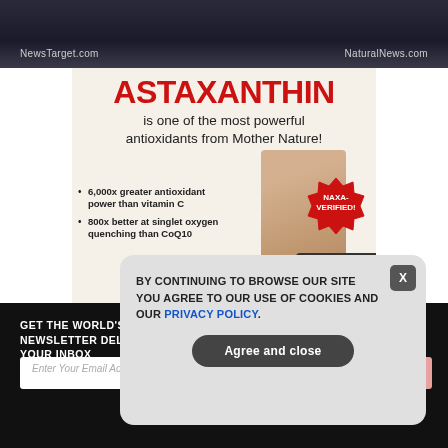NewsTarget.com | NaturalNews.com
[Figure (illustration): Advertisement banner for Astaxanthin supplement product. Features bold red text 'ASTAXANTHIN' headline, subtitle 'is one of the most powerful antioxidants from Mother Nature!', bullet points listing '6,000x greater antioxidant power than vitamin C' and '800x better at singlet oxygen quenching than CoQ10', with photo of smiling woman and a NAXA-VERIFIED badge.]
GET THE WORLD'S BEST NATURAL HEALTH NEWSLETTER DELIVERED STRAIGHT TO YOUR INBOX
Enter Your Email Address
SUBSCRIBE
BY CONTINUING TO BROWSE OUR SITE YOU AGREE TO OUR USE OF COOKIES AND OUR PRIVACY POLICY.
Agree and close